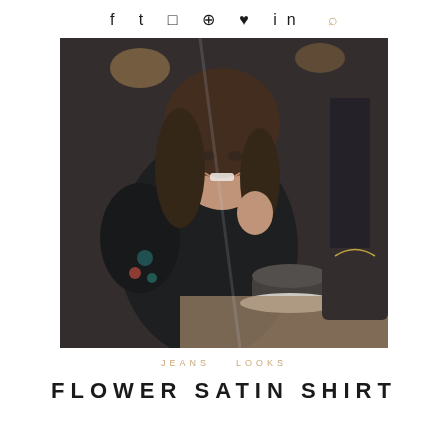f  ♥  ⊠  ⊕  ♥  in  🔍
[Figure (photo): A smiling brunette woman sitting at a cafe table, wearing a black floral satin shirt, holding a spoon near a coffee cup, photographed through a glass window. A dark handbag is visible on the right side.]
JEANS   LOOKS
FLOWER SATIN SHIRT